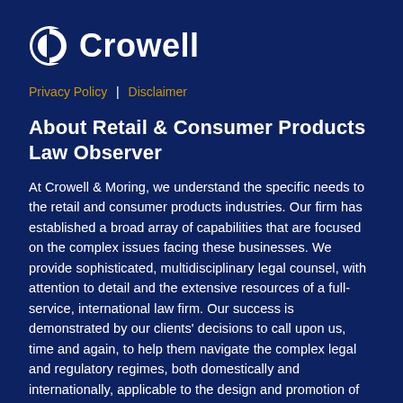[Figure (logo): Crowell & Moring logo — white circular C icon with cutout followed by 'Crowell' in white bold text]
Privacy Policy  |  Disclaimer
About Retail & Consumer Products Law Observer
At Crowell & Moring, we understand the specific needs to the retail and consumer products industries. Our firm has established a broad array of capabilities that are focused on the complex issues facing these businesses. We provide sophisticated, multidisciplinary legal counsel, with attention to detail and the extensive resources of a full-service, international law firm. Our success is demonstrated by our clients' decisions to call upon us, time and again, to help them navigate the complex legal and regulatory regimes, both domestically and internationally, applicable to the design and promotion of products and services, and to assist them in taking innovative and proactive measures